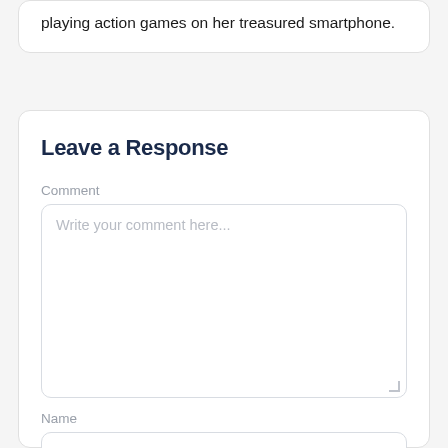playing action games on her treasured smartphone.
Leave a Response
Comment
Write your comment here...
Name